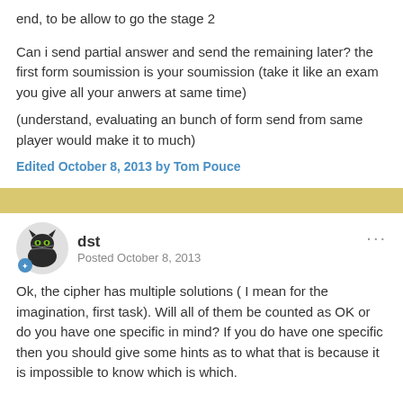end, to be allow to go the stage 2
Can i send partial answer and send the remaining later? the first form soumission is your soumission (take it like an exam you give all your anwers at same time)
(understand, evaluating an bunch of form send from same player would make it to much)
Edited October 8, 2013 by Tom Pouce
dst
Posted October 8, 2013
Ok, the cipher has multiple solutions ( I mean for the imagination, first task). Will all of them be counted as OK or do you have one specific in mind? If you do have one specific then you should give some hints as to what that is because it is impossible to know which is which.